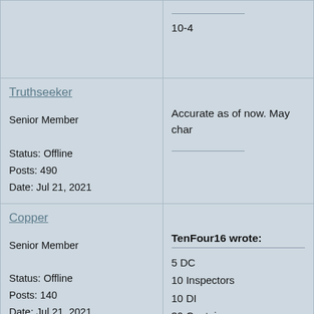10-4
Truthseeker
Senior Member
Status: Offline
Posts: 490
Date: Jul 21, 2021
Accurate as of now. May char
Copper
Senior Member
Status: Offline
Posts: 140
Date: Jul 21, 2021
TenFour16 wrote:
5 DC
10 Inspectors
10 DI
30 Captains
9 LSA
10 LCD
55 LT